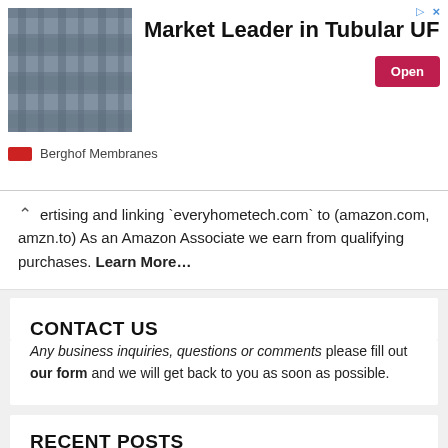[Figure (other): Advertisement banner for Berghof Membranes - Market Leader in Tubular UF with an Open button]
ertising and linking `everyhometech.com` to (amazon.com, amzn.to) As an Amazon Associate we earn from qualifying purchases. Learn More…
CONTACT US
Any business inquiries, questions or comments please fill out our form and we will get back to you as soon as possible.
RECENT POSTS
Best RGB Gaming Chair